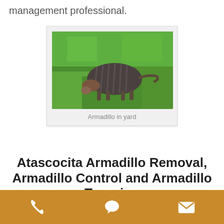management professional.
[Figure (photo): An armadillo walking on green grass in a yard]
Armadillo in yard
Atascocita Armadillo Removal, Armadillo Control and Armadillo Trapping